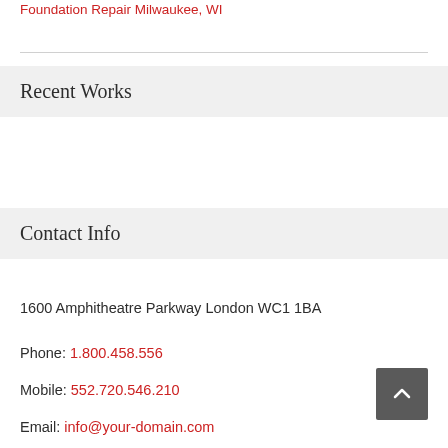Foundation Repair Milwaukee, WI
Recent Works
Contact Info
1600 Amphitheatre Parkway London WC1 1BA
Phone: 1.800.458.556
Mobile: 552.720.546.210
Email: info@your-domain.com